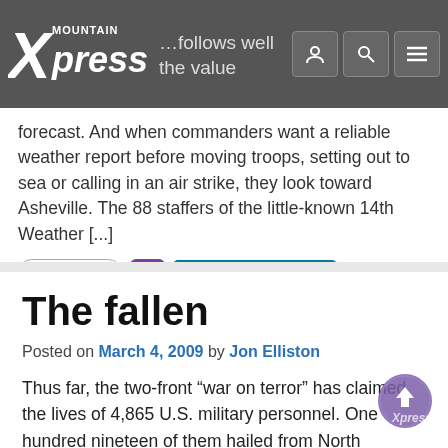Mountain Xpress
forecast. And when commanders want a reliable weather report before moving troops, setting out to sea or calling in an air strike, they look toward Asheville. The 88 staffers of the little-known 14th Weather [...]
2.7 K VIEWS   +   COMMUNITY NEWS
The fallen
Posted on March 4, 2009 by Jon Elliston
Thus far, the two-front “war on terror” has claimed the lives of 4,865 U.S. military personnel. One hundred nineteen of them hailed from North Carolina, and six of those called Western North Carolina home. Below are details about our area’s service members who’ve perished in Afghanistan and Iraq. Sgt. William S. Kinzer Jr., Hendersonville: Kinzer. [...]